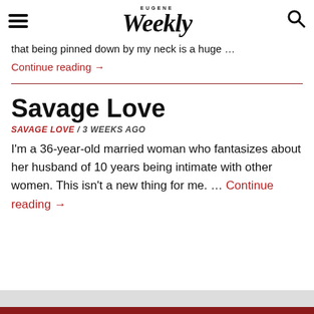Eugene Weekly
that being pinned down by my neck is a huge …
Continue reading →
Savage Love
SAVAGE LOVE / 3 WEEKS AGO
I'm a 36-year-old married woman who fantasizes about her husband of 10 years being intimate with other women. This isn't a new thing for me. … Continue reading →